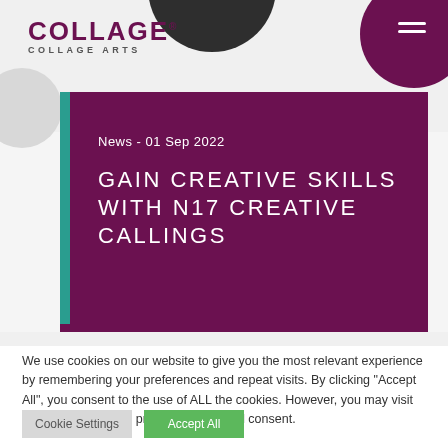COLLAGE® COLLAGE ARTS
GAIN CREATIVE SKILLS WITH N17 CREATIVE CALLINGS
News - 01 Sep 2022
We use cookies on our website to give you the most relevant experience by remembering your preferences and repeat visits. By clicking "Accept All", you consent to the use of ALL the cookies. However, you may visit "Cookie Settings" to provide a controlled consent.